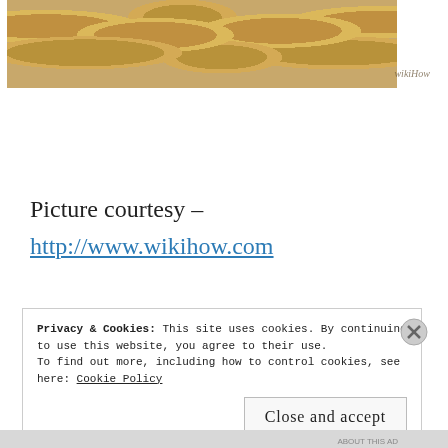[Figure (photo): Close-up photo of peanuts in shells, golden-brown color, with wikiHow watermark in lower right corner]
Picture courtesy –
http://www.wikihow.com
Privacy & Cookies: This site uses cookies. By continuing to use this website, you agree to their use. To find out more, including how to control cookies, see here: Cookie Policy
Close and accept